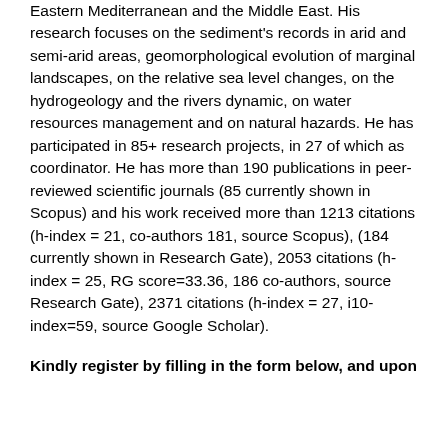Eastern Mediterranean and the Middle East. His research focuses on the sediment's records in arid and semi-arid areas, geomorphological evolution of marginal landscapes, on the relative sea level changes, on the hydrogeology and the rivers dynamic, on water resources management and on natural hazards. He has participated in 85+ research projects, in 27 of which as coordinator. He has more than 190 publications in peer-reviewed scientific journals (85 currently shown in Scopus) and his work received more than 1213 citations (h-index = 21, co-authors 181, source Scopus), (184 currently shown in Research Gate), 2053 citations (h-index = 25, RG score=33.36, 186 co-authors, source Research Gate), 2371 citations (h-index = 27, i10-index=59, source Google Scholar).
Kindly register by filling in the form below, and upon